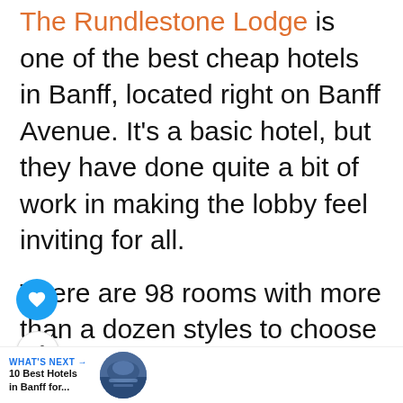The Rundlestone Lodge is one of the best cheap hotels in Banff, located right on Banff Avenue. It's a basic hotel, but they have done quite a bit of work in making the lobby feel inviting for all.
There are 98 rooms with more than a dozen styles to choose from, some equipped with kitchenettes or jetted tubs. As it's a more prominent cheap hotel in Banff, there are often rooms available, and even if you need to book last minute, you can often find accommodation options here.
WHAT'S NEXT → 10 Best Hotels in Banff for...